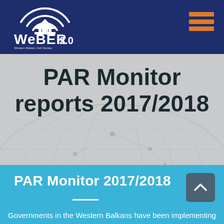[Figure (logo): WeBER 2.0 logo — white icon of a building with radio waves above it, text WeBER 2.0 with small subtitle text, on dark navy background]
PAR Monitor reports 2017/2018
PAR Monitor 2017/2018
Governments in the Western Balkans have been implementing